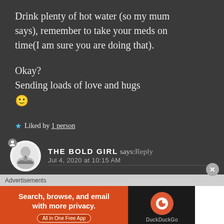Drink plenty of hot water (so my mum says), remember to take your meds on time(I am sure you are doing that).

Okay?
Sending loads of love and hugs 🙂
★ Liked by 1 person
THE BOLD GIRL says: Reply
Jul 4, 2020 at 10:15 AM
Advertisements
[Figure (screenshot): DuckDuckGo advertisement banner: 'Search, browse, and email with more privacy. All in One Free App' with DuckDuckGo logo on dark right panel]